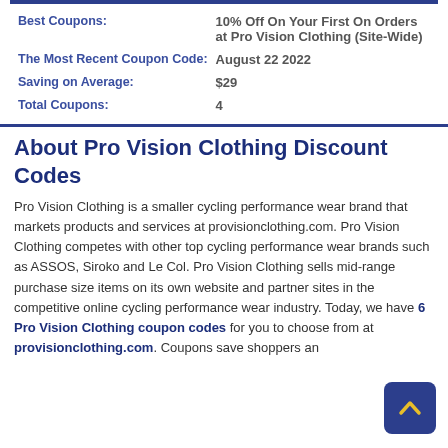| Label | Value |
| --- | --- |
| Best Coupons: | 10% Off On Your First On Orders at Pro Vision Clothing (Site-Wide) |
| The Most Recent Coupon Code: | August 22 2022 |
| Saving on Average: | $29 |
| Total Coupons: | 4 |
About Pro Vision Clothing Discount Codes
Pro Vision Clothing is a smaller cycling performance wear brand that markets products and services at provisionclothing.com. Pro Vision Clothing competes with other top cycling performance wear brands such as ASSOS, Siroko and Le Col. Pro Vision Clothing sells mid-range purchase size items on its own website and partner sites in the competitive online cycling performance wear industry. Today, we have 6 Pro Vision Clothing coupon codes for you to choose from at provisionclothing.com. Coupons save shoppers an